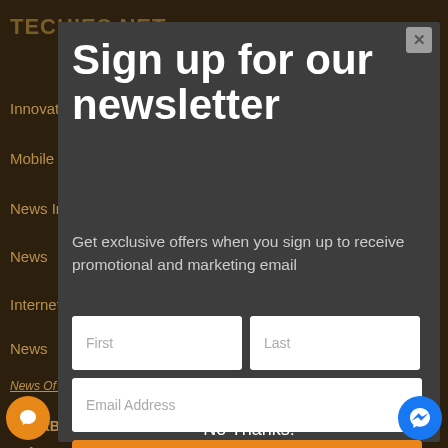[Figure (screenshot): Website background showing TECHIES NET header and navigation menu items: Innovation, Mobile, News Internet, News, Internet4, News, News Of Internet, SmartBand, Software, Technology in dark brownish background]
Sign up for our newsletter
Get exclusive offers when you sign up to receive promotional and marketing email
First
Last
Email Address
Subscribe
No Thanks!